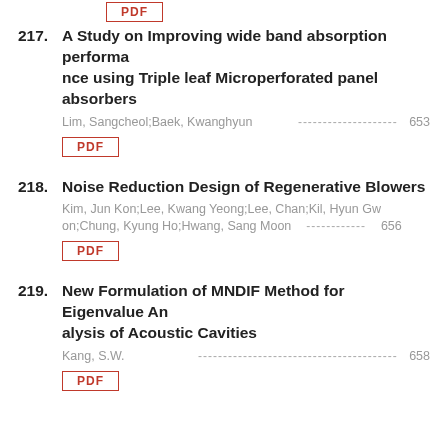217. A Study on Improving wide band absorption performance using Triple leaf Microperforated panel absorbers
Lim, Sangcheol;Baek, Kwanghyun ··················· 653
PDF
218. Noise Reduction Design of Regenerative Blowers
Kim, Jun Kon;Lee, Kwang Yeong;Lee, Chan;Kil, Hyun Gwon;Chung, Kyung Ho;Hwang, Sang Moon ············ 656
PDF
219. New Formulation of MNDIF Method for Eigenvalue Analysis of Acoustic Cavities
Kang, S.W. ············································ 658
PDF